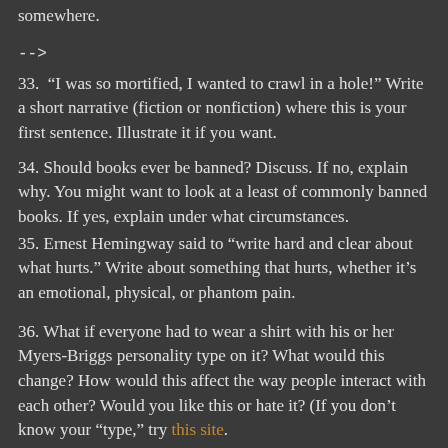somewhere.
-->
33. “I was so mortified, I wanted to crawl in a hole!” Write a short narrative (fiction or nonfiction) where this is your first sentence. Illustrate it if you want.
34. Should books ever be banned? Discuss. If no, explain why. You might want to look at a least of commonly banned books. If yes, explain under what circumstances.
35. Ernest Hemingway said to “write hard and clear about what hurts.” Write about something that hurts, whether it’s an emotional, physical, or phantom pain.
36. What if everyone had to wear a shirt with his or her Myers-Briggs personality type on it? What would this change? How would this affect the way people interact with each other? Would you like this or hate it? (If you don’t know your “type,” try this site.)
37. William Shakespeare wrote that: “Conversation should be pleasant without scurrility, witty without affectation, free without